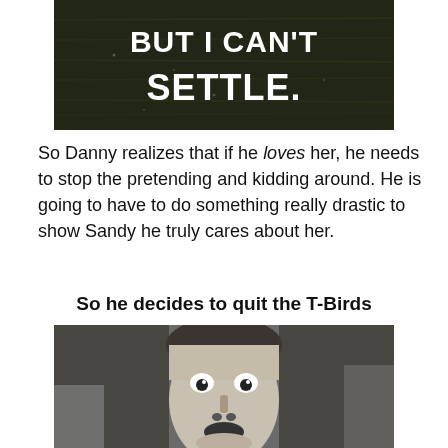[Figure (photo): Dark water background with bold white text reading 'BUT I CAN'T SETTLE.']
So Danny realizes that if he loves her, he needs to stop the pretending and kidding around. He is going to have to do something really drastic to show Sandy he truly cares about her.
So he decides to quit the T-Birds
[Figure (photo): Black and white photo of a young man looking upward with a shocked/surprised expression, hands partially visible.]